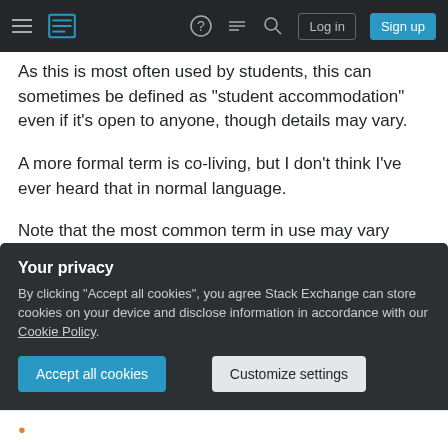Stack Exchange navigation bar with hamburger menu, logo, help, chat, search icons, Log in and Sign up buttons
As this is most often used by students, this can sometimes be defined as "student accommodation" even if it's open to anyone, though details may vary.
A more formal term is co-living, but I don't think I've ever heard that in normal language.
Note that the most common term in use may vary depending on the country, so specifying that could help.
Share
Your privacy
By clicking "Accept all cookies", you agree Stack Exchange can store cookies on your device and disclose information in accordance with our Cookie Policy.
Accept all cookies
Customize settings